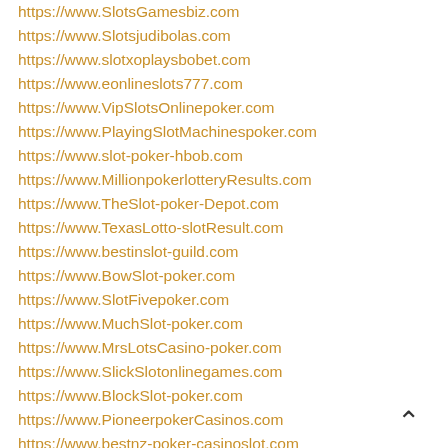https://www.SlotsGamesbiz.com
https://www.Slotsjudibolas.com
https://www.slotxoplaysbobet.com
https://www.eonlineslots777.com
https://www.VipSlotsOnlinepoker.com
https://www.PlayingSlotMachinespoker.com
https://www.slot-poker-hbob.com
https://www.MillionpokerlotteryResults.com
https://www.TheSlot-poker-Depot.com
https://www.TexasLotto-slotResult.com
https://www.bestinslot-guild.com
https://www.BowSlot-poker.com
https://www.SlotFivepoker.com
https://www.MuchSlot-poker.com
https://www.MrsLotsCasino-poker.com
https://www.SlickSlotonlinegames.com
https://www.BlockSlot-poker.com
https://www.PioneerpokerCasinos.com
https://www.bestnz-poker-casinoslot.com